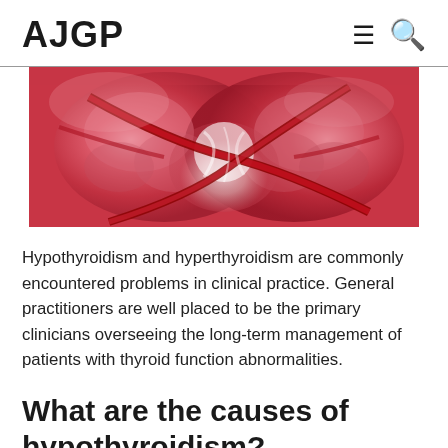AJGP
[Figure (photo): Close-up medical photograph of the thyroid gland with red/pink tissue and blood vessels visible during a surgical or anatomical examination.]
Hypothyroidism and hyperthyroidism are commonly encountered problems in clinical practice. General practitioners are well placed to be the primary clinicians overseeing the long-term management of patients with thyroid function abnormalities.
What are the causes of hypothyroidism?